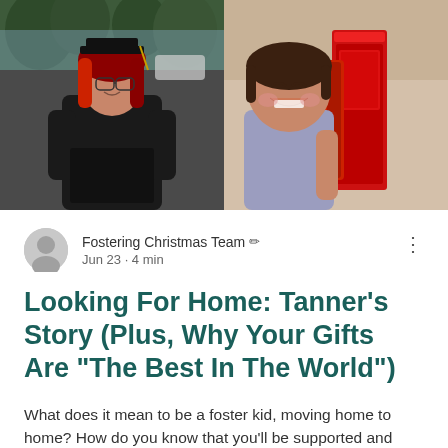[Figure (photo): Two photos side by side: left photo shows a young woman in black graduation gown and cap with red hair holding a diploma; right photo shows a smiling child holding a large red toy or game box.]
Fostering Christmas Team ✏ Jun 23 · 4 min
Looking For Home: Tanner's Story (Plus, Why Your Gifts Are “The Best In The World”)
What does it mean to be a foster kid, moving home to home? How do you know that you'll be supported and loved?